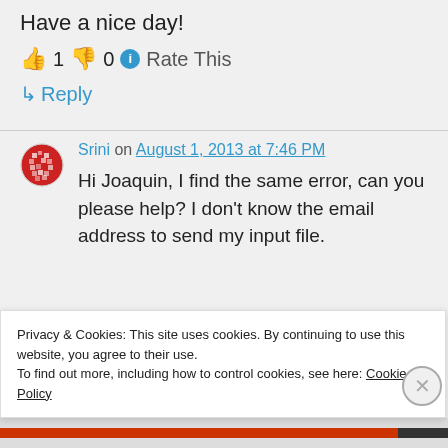Have a nice day!
👍 1 👎 0 ℹ Rate This
↳ Reply
Srini on August 1, 2013 at 7:46 PM
Hi Joaquin, I find the same error, can you please help? I don't know the email address to send my input file.
Privacy & Cookies: This site uses cookies. By continuing to use this website, you agree to their use.
To find out more, including how to control cookies, see here: Cookie Policy
Close and accept